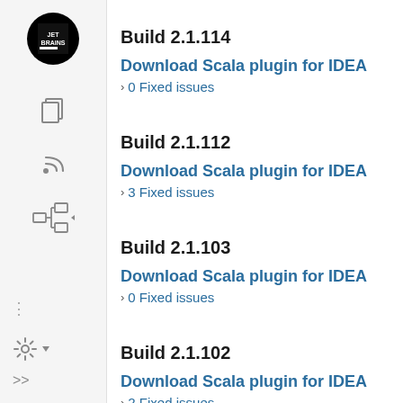Build 2.1.114
Download Scala plugin for IDEA
0 Fixed issues
Build 2.1.112
Download Scala plugin for IDEA
3 Fixed issues
Build 2.1.103
Download Scala plugin for IDEA
0 Fixed issues
Build 2.1.102
Download Scala plugin for IDEA
2 Fixed issues